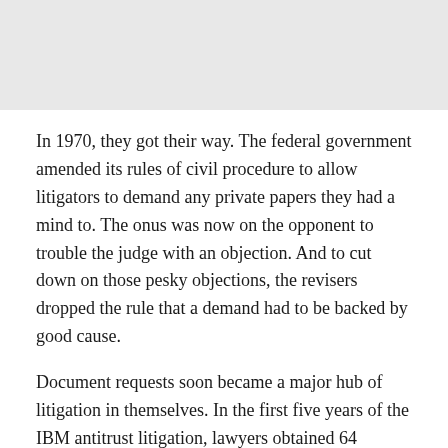[Figure (other): Gray rectangular image placeholder at the top of the page]
In 1970, they got their way. The federal government amended its rules of civil procedure to allow litigators to demand any private papers they had a mind to. The onus was now on the opponent to trouble the judge with an objection. And to cut down on those pesky objections, the revisers dropped the rule that a demand had to be backed by good cause.
Document requests soon became a major hub of litigation in themselves. In the first five years of the IBM antitrust litigation, lawyers obtained 64 million pages of documents. Los Angeles lawyer Ronald Olson recalls a case in which his client spent nearly $2.5 million responding to discovery demands as a third party, not a litigant.
Then began the format wars. A lawyer in a liability suit